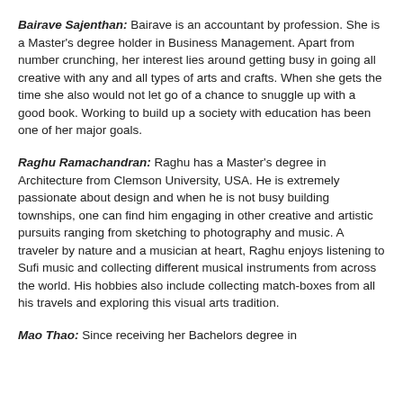Bairave Sajenthan: Bairave is an accountant by profession. She is a Master's degree holder in Business Management. Apart from number crunching, her interest lies around getting busy in going all creative with any and all types of arts and crafts. When she gets the time she also would not let go of a chance to snuggle up with a good book. Working to build up a society with education has been one of her major goals.
Raghu Ramachandran: Raghu has a Master's degree in Architecture from Clemson University, USA. He is extremely passionate about design and when he is not busy building townships, one can find him engaging in other creative and artistic pursuits ranging from sketching to photography and music. A traveler by nature and a musician at heart, Raghu enjoys listening to Sufi music and collecting different musical instruments from across the world. His hobbies also include collecting match-boxes from all his travels and exploring this visual arts tradition.
Mao Thao: Since receiving her Bachelors degree in